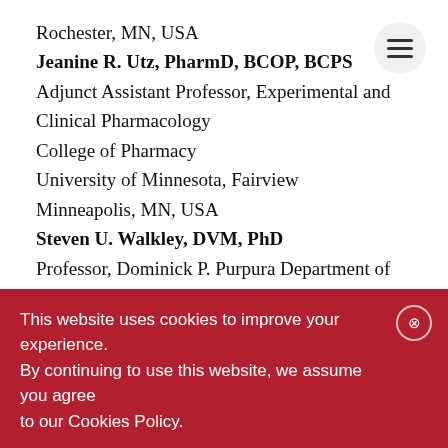Rochester, MN, USA
Jeanine R. Utz, PharmD, BCOP, BCPS
Adjunct Assistant Professor, Experimental and Clinical Pharmacology
College of Pharmacy
University of Minnesota, Fairview
Minneapolis, MN, USA
Steven U. Walkley, DVM, PhD
Professor, Dominick P. Purpura Department of Neuroscience
Professor, Department of Pathology
Professor, The Saul R. Korey Department of Neurology
Director, Rose F. Kennedy Intellectual and
This website uses cookies to improve your experience. By continuing to use this website, we assume you agree to our Cookies Policy.